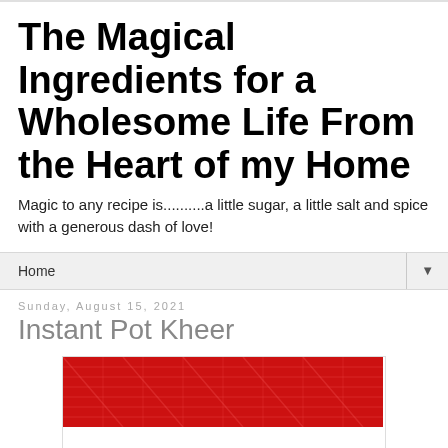The Magical Ingredients for a Wholesome Life From the Heart of my Home
Magic to any recipe is..........a little sugar, a little salt and spice with a generous dash of love!
Home
Sunday, August 15, 2021
Instant Pot Kheer
[Figure (photo): Partial image of Instant Pot Kheer dish with red decorative background pattern]